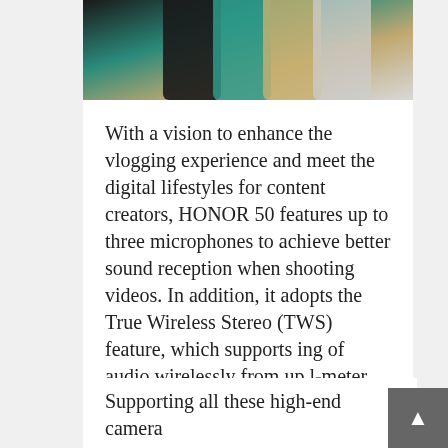[Figure (photo): Top portion of smartphone product photo showing multiple Honor 50 devices in black, teal/green, and gold/silver colorways against a white background]
With a vision to enhance the vlogging experience and meet the digital lifestyles for content creators, HONOR 50 features up to three microphones to achieve better sound reception when shooting videos. In addition, it adopts the True Wireless Stereo (TWS) feature, which supports ing of audio wirelessly from up l-meter distance to give users convenience while vlogging or recording live broadcasts.
TwitCount Button
Share
Supporting all these high-end camera